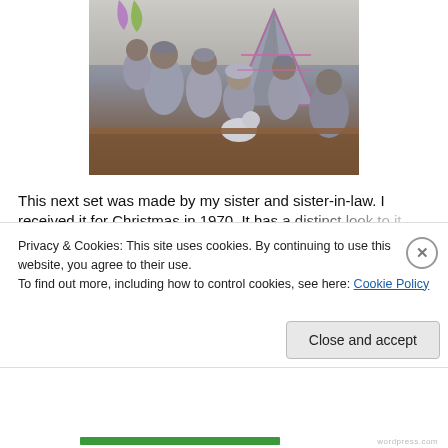[Figure (photo): A photograph of a collection of Native American figurines/dolls arranged on a wooden surface. The figures include people in traditional dress, a teepee, and what appears to be a dog or wolf figure. The figurines are predominantly grey/blue toned.]
This next set was made by my sister and sister-in-law. I received it for Christmas in 1970. It has a distinct look to it...
Privacy & Cookies: This site uses cookies. By continuing to use this website, you agree to their use.
To find out more, including how to control cookies, see here: Cookie Policy